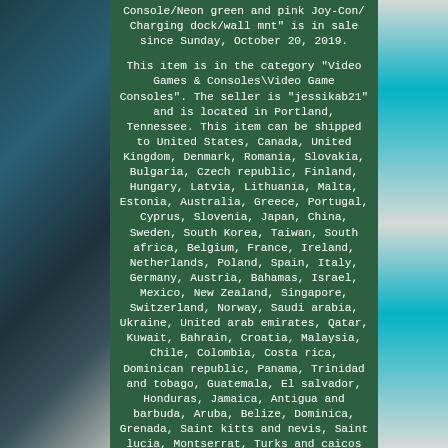Console/Neon green and pink Joy-Con/ Charging dock/wall mnt" is in sale since Sunday, October 20, 2019.

This item is in the category "Video Games & Consoles\Video Game Consoles". The seller is "jessikab21" and is located in Portland, Tennessee. This item can be shipped to United States, Canada, United Kingdom, Denmark, Romania, Slovakia, Bulgaria, Czech republic, Finland, Hungary, Latvia, Lithuania, Malta, Estonia, Australia, Greece, Portugal, Cyprus, Slovenia, Japan, China, Sweden, South Korea, Taiwan, South africa, Belgium, France, Ireland, Netherlands, Poland, Spain, Italy, Germany, Austria, Bahamas, Israel, Mexico, New Zealand, Singapore, Switzerland, Norway, Saudi arabia, Ukraine, United arab emirates, Qatar, Kuwait, Bahrain, Croatia, Malaysia, Chile, Colombia, Costa rica, Dominican republic, Panama, Trinidad and tobago, Guatemala, El salvador, Honduras, Jamaica, Antigua and barbuda, Aruba, Belize, Dominica, Grenada, Saint kitts and nevis, Saint lucia, Montserrat, Turks and caicos islands, Barbados, Bermuda, Brunei darussalam, Bolivia, French guiana, Guernsey, Gibraltar, Guadeloupe, Iceland, Jersey, Jordan, Cambodia, Cayman islands, Liechtenstein, Sri lanka, Luxembourg, Monaco, Macao, Martinique, Maldives, Oman, Pakistan, Paraguay, Reunion, Uruguay.

Resolution: 1080p (FHD)
Bundle Description: Included items